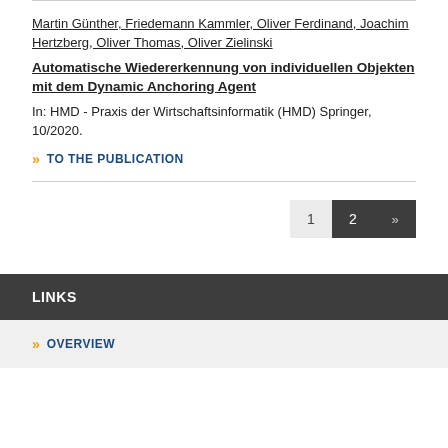Martin Günther, Friedemann Kammler, Oliver Ferdinand, Joachim Hertzberg, Oliver Thomas, Oliver Zielinski
Automatische Wiedererkennung von individuellen Objekten mit dem Dynamic Anchoring Agent
In: HMD - Praxis der Wirtschaftsinformatik (HMD) Springer, 10/2020.
» TO THE PUBLICATION
1  2  »
LINKS
» OVERVIEW